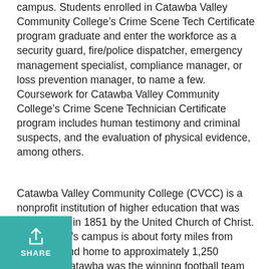campus. Students enrolled in Catawba Valley Community College's Crime Scene Tech Certificate program graduate and enter the workforce as a security guard, fire/police dispatcher, emergency management specialist, compliance manager, or loss prevention manager, to name a few. Coursework for Catawba Valley Community College's Crime Scene Technician Certificate program includes human testimony and criminal suspects, and the evaluation of physical evidence, among others.
Catawba Valley Community College (CVCC) is a nonprofit institution of higher education that was established in 1851 by the United Church of Christ. The college's campus is about forty miles from Charlotte and home to approximately 1,250 students. Catawba was the winning football team for the first Shrine Bowl which eventually morphed to its current